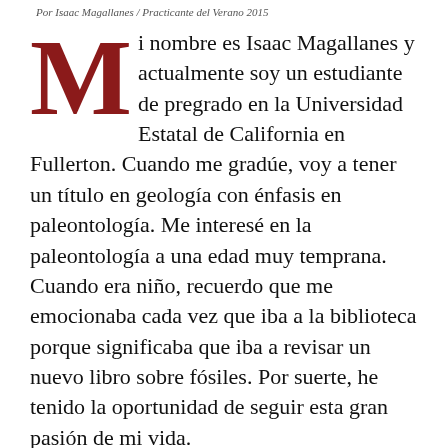Por Isaac Magallanes / Practicante del Verano 2015
Mi nombre es Isaac Magallanes y actualmente soy un estudiante de pregrado en la Universidad Estatal de California en Fullerton. Cuando me gradúe, voy a tener un título en geología con énfasis en paleontología. Me interesé en la paleontología a una edad muy temprana. Cuando era niño, recuerdo que me emocionaba cada vez que iba a la biblioteca porque significaba que iba a revisar un nuevo libro sobre fósiles. Por suerte, he tenido la oportunidad de seguir esta gran pasión de mi vida.